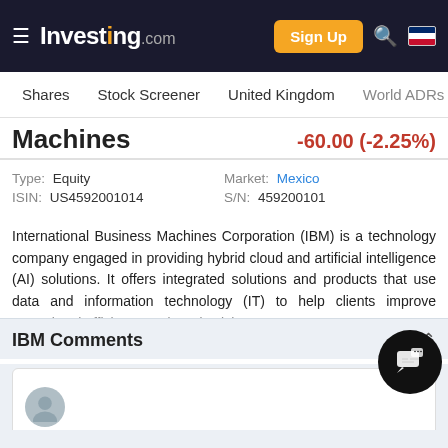Investing.com — Shares  Stock Screener  United Kingdom  World ADRs
Machines  -60.00 (-2.25%)
| Field | Value |
| --- | --- |
| Type: | Equity |
| Market: | Mexico |
| ISIN: | US4592001014 |
| S/N: | 459200101 |
International Business Machines Corporation (IBM) is a technology company engaged in providing hybrid cloud and artificial intelligence (AI) solutions. It offers integrated solutions and products that use data and information technology (IT) to help clients improve operational efficiency and productivity.
IBM Comments
Comment input area with user avatar